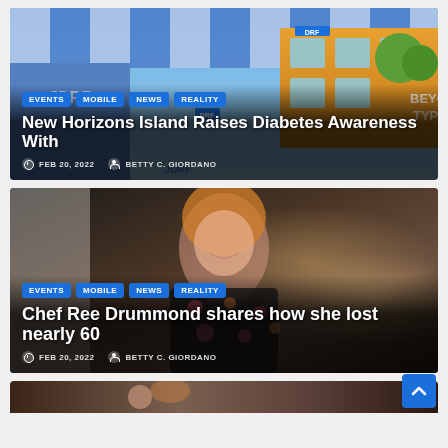[Figure (photo): Article card 1: Animal Crossing / JDRF themed screenshot showing cartoon game scene with blue striped awning, DRF branding, and anime-style character in JDRF hat]
EVENTS  MOBILE  NEWS  REALITY
New Horizons Island Raises Diabetes Awareness With
FEB 20, 2022   BETTY C. GIORDANO
[Figure (photo): Article card 2: Photo of smiling woman with red/orange hair wearing a floral black dress, restaurant/bar background with warm bokeh lighting]
EVENTS  MOBILE  NEWS  REALITY
Chef Ree Drummond shares how she lost nearly 60
FEB 20, 2022   BETTY C. GIORDANO
[Figure (photo): Partial third article card, cropped at bottom of page, showing dark warm-toned image]